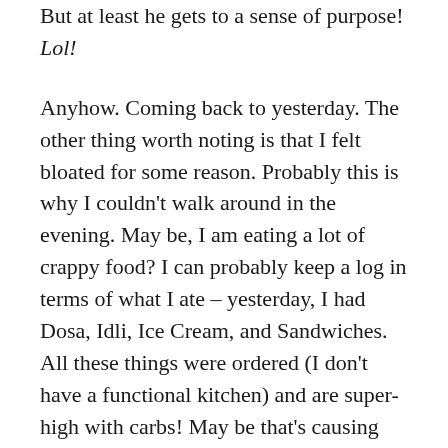But at least he gets to a sense of purpose! Lol!
Anyhow. Coming back to yesterday. The other thing worth noting is that I felt bloated for some reason. Probably this is why I couldn't walk around in the evening. May be, I am eating a lot of crappy food? I can probably keep a log in terms of what I ate – yesterday, I had Dosa, Idli, Ice Cream, and Sandwiches. All these things were ordered (I don't have a functional kitchen) and are super-high with carbs! May be that's causing the stomach to inflate like a balloon?
Thing is, I've always had the guts of steel (thanks to growing up in a lower-middle-class part of Delhi) and I could digest almost